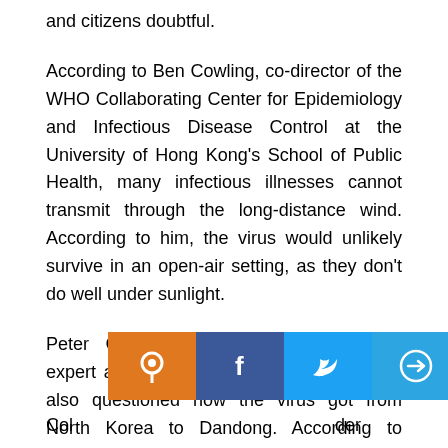and citizens doubtful.
According to Ben Cowling, co-director of the WHO Collaborating Center for Epidemiology and Infectious Disease Control at the University of Hong Kong's School of Public Health, many infectious illnesses cannot transmit through the long-distance wind. According to him, the virus would unlikely survive in an open-air setting, as they don't do well under sunlight.
Peter Collignon, an infectious diseases expert at the Australian National University, also questioned how the virus got from North Korea to Dandong. According to Colignon, there is a considerable risk of infection throughout people's journeys, whether across borders or inside cities.
[Figure (other): Social media share bar with icons for location pin (orange), Facebook (blue), Twitter (blue), Telegram (blue), WhatsApp (green), Reddit (orange-red), email (grey), and share (olive/green)]
Col ... der